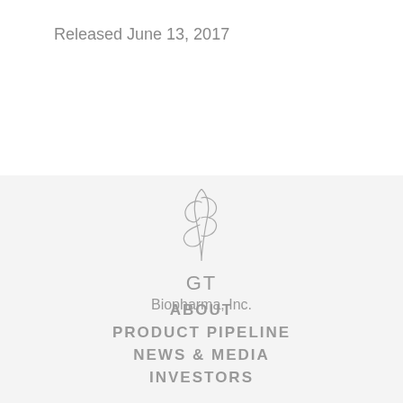Released June 13, 2017
[Figure (logo): GT Biopharma, Inc. logo with stylized flame/feather icon above the text 'GT' and 'Biopharma, Inc.']
ABOUT
PRODUCT PIPELINE
NEWS & MEDIA
INVESTORS